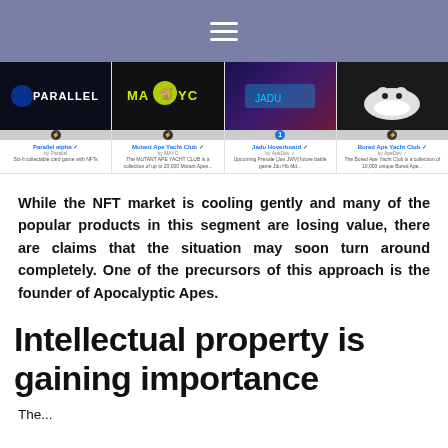Navigation header with hamburger menu
[Figure (screenshot): Grid of 4 NFT collection cards: Parallel (sci-fi card game with NFTs), Mutant Ape Yacht Club (by MAYC), Jadu Hoverboard (by ApeDev), Bored Ape Yacht Club]
While the NFT market is cooling gently and many of the popular products in this segment are losing value, there are claims that the situation may soon turn around completely. One of the precursors of this approach is the founder of Apocalyptic Apes.
Intellectual property is gaining importance
The...